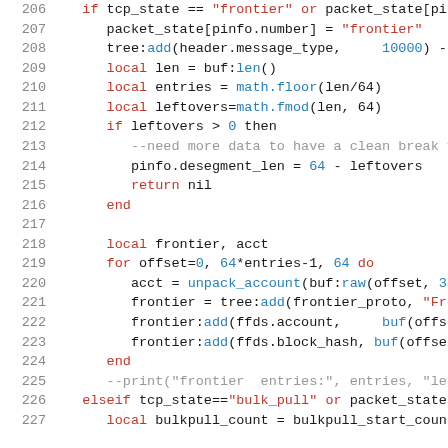Code listing lines 206-227, Lua source code for TCP state parsing with frontier and bulk_pull handling